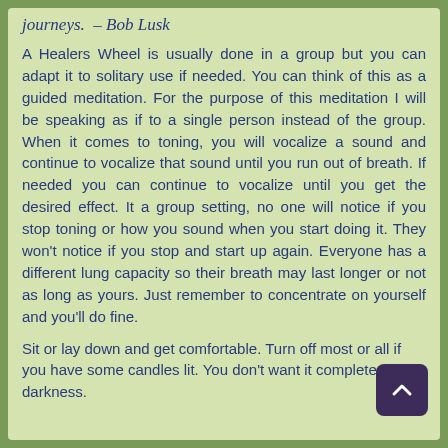journeys.  – Bob Lusk
A Healers Wheel is usually done in a group but you can adapt it to solitary use if needed. You can think of this as a guided meditation. For the purpose of this meditation I will be speaking as if to a single person instead of the group. When it comes to toning, you will vocalize a sound and continue to vocalize that sound until you run out of breath. If needed you can continue to vocalize until you get the desired effect. It a group setting, no one will notice if you stop toning or how you sound when you start doing it. They won't notice if you stop and start up again. Everyone has a different lung capacity so their breath may last longer or not as long as yours. Just remember to concentrate on yourself and you'll do fine.
Sit or lay down and get comfortable. Turn off most or all if you have some candles lit. You don't want it complete darkness.